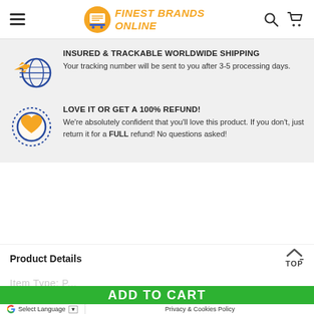FINEST BRANDS ONLINE
INSURED & TRACKABLE WORLDWIDE SHIPPING
Your tracking number will be sent to you after 3-5 processing days.
LOVE IT OR GET A 100% REFUND!
We're absolutely confident that you'll love this product. If you don't, just return it for a FULL refund! No questions asked!
Product Details
ADD TO CART
Select Language
Privacy & Cookies Policy